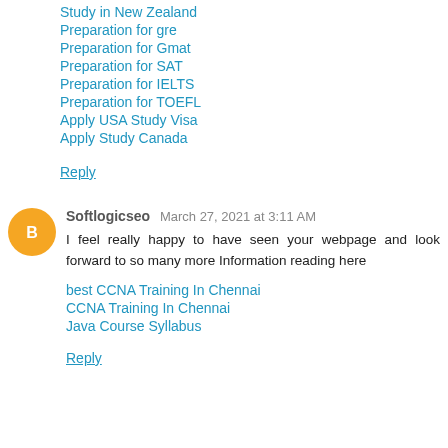Study in New Zealand
Preparation for gre
Preparation for Gmat
Preparation for SAT
Preparation for IELTS
Preparation for TOEFL
Apply USA Study Visa
Apply Study Canada
Reply
Softlogicseo March 27, 2021 at 3:11 AM
I feel really happy to have seen your webpage and look forward to so many more Information reading here
best CCNA Training In Chennai
CCNA Training In Chennai
Java Course Syllabus
Reply